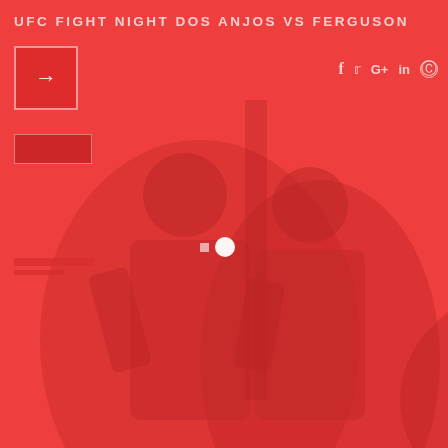UFC FIGHT NIGHT DOS ANJOS VS FERGUSON
[Figure (photo): Red-tinted background photo showing two MMA fighters (Dos Anjos and Ferguson) in a confrontational pose, heavily overlaid with a red color wash making it appear as a monochromatic red image. Two small navigation dot indicators visible in the center.]
[Figure (logo): Small red square box with a right-pointing arrow, top-left corner, resembling a navigation or brand logo element.]
[Figure (infographic): Social media icons (Facebook f, Twitter bird, Google+, LinkedIn in, Pinterest/Instagram circle) arranged horizontally in the top-right area, rendered in light red/white tones.]